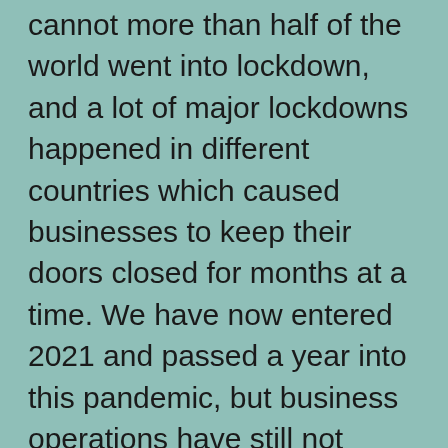cannot more than half of the world went into lockdown, and a lot of major lockdowns happened in different countries which caused businesses to keep their doors closed for months at a time. We have now entered 2021 and passed a year into this pandemic, but business operations have still not normalized. We went into a global recession last year, and business owners, especially small business owners suffered exponentially. A lot of businesses shut their doors, and many are still struggling to stay afloat. If your business has been suffering and the debts are only growing, you might be considering declaring bankruptcy.